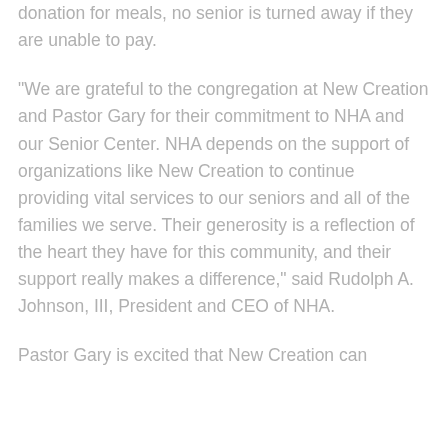donation for meals, no senior is turned away if they are unable to pay.
“We are grateful to the congregation at New Creation and Pastor Gary for their commitment to NHA and our Senior Center. NHA depends on the support of organizations like New Creation to continue providing vital services to our seniors and all of the families we serve. Their generosity is a reflection of the heart they have for this community, and their support really makes a difference,” said Rudolph A. Johnson, III, President and CEO of NHA.
Pastor Gary is excited that New Creation can